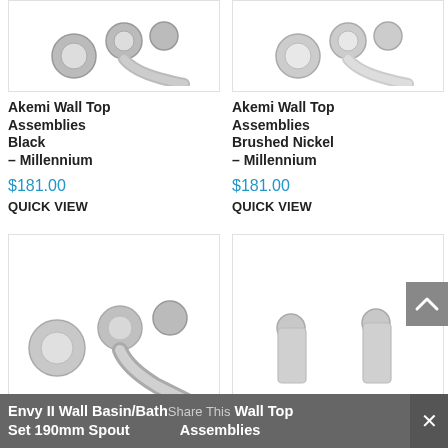[Figure (photo): Akemi Wall Top Assemblies Black – Millennium product image (cropped top)]
[Figure (photo): Akemi Wall Top Assemblies Brushed Nickel – Millennium product image (cropped top)]
Akemi Wall Top Assemblies Black – Millennium
$181.00
QUICK VIEW
Akemi Wall Top Assemblies Brushed Nickel – Millennium
$181.00
QUICK VIEW
[Figure (photo): Envy II Wall Basin/Bath Set 190mm Spout – chrome wall-mounted faucet set with two knob handles and curved spout]
[Figure (photo): Wall Top Assemblies – chrome lever-style wall-mounted faucet set]
Envy II Wall Basin/Bath Set 190mm Spout  Share This  Wall Top Assemblies  ×